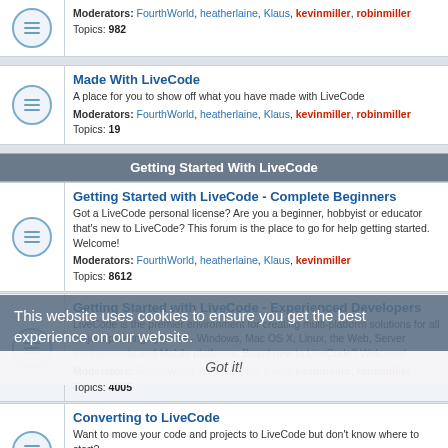Made With LiveCode — Moderators: FourthWorld, heatherlaine, Klaus, kevinmiller, robinmiller — Topics: 982
Made With LiveCode
A place for you to show off what you have made with LiveCode
Moderators: FourthWorld, heatherlaine, Klaus, kevinmiller, robinmiller
Topics: 19
Getting Started With LiveCode
Getting Started with LiveCode - Complete Beginners
Got a LiveCode personal license? Are you a beginner, hobbyist or educator that's new to LiveCode? This forum is the place to go for help getting started. Welcome!
Moderators: FourthWorld, heatherlaine, Klaus, kevinmiller
Topics: 8612
Getting Started with LiveCode - Experienced Developers
LiveCode is the premier environment for creating multi-platform solutions for all major operating systems - Windows, Mac OS X, Linux, the Web, Server environments and Mobile platforms. Brand new to LiveCode? Welcome!
Moderators: FourthWorld, heatherlaine, Klaus, kevinmiller, robinmiller
Topics: 4005
Converting to LiveCode
Want to move your code and projects to LiveCode but don't know where to start?
Moderators: FourthWorld, heatherlaine, Klaus, robinmiller
Topics: 116
App Building Course
Moderators: FourthWorld, heatherlaine, Klaus, kevinmiller
Topics: 27
This website uses cookies to ensure you get the best experience on our website.
Got it!